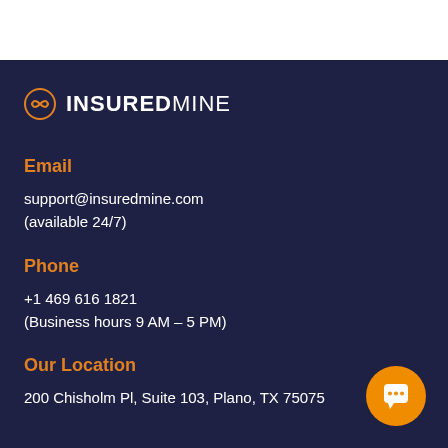[Figure (logo): InsuredMine logo with orange infinity/shield icon and white text INSUREDMINE]
Email
support@insuredmine.com
(available 24/7)
Phone
+1 469 616 1821
(Business hours 9 AM – 5 PM)
Our Location
200 Chisholm Pl, Suite 103, Plano, TX 75075